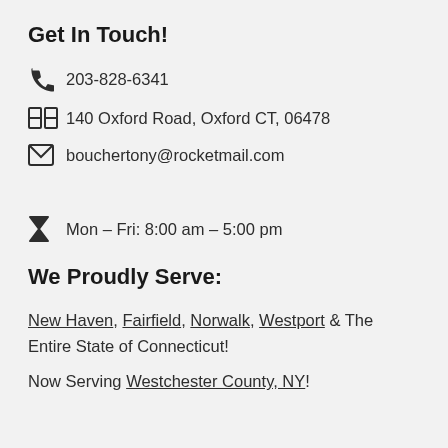Get In Touch!
📞 203-828-6341
🗺 140 Oxford Road, Oxford CT, 06478
✉ bouchertony@rocketmail.com
⏳ Mon – Fri: 8:00 am – 5:00 pm
We Proudly Serve:
New Haven, Fairfield, Norwalk, Westport & The Entire State of Connecticut!
Now Serving Westchester County, NY!